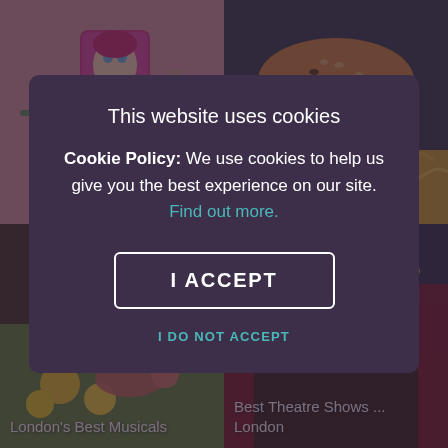[Figure (screenshot): Website screenshot showing a cookie consent modal overlay. Background shows 4 images in a 2x2 grid: top-left an avocado oil product with retro woman illustration, top-right a burger, bottom-left London's Best Musicals, bottom-right Best Theatre Shows in London. Foreground is a dark purple modal dialog.]
This website uses cookies
Cookie Policy: We use cookies to help us give you the best experience on our site. Find out more.
I ACCEPT
I DO NOT ACCEPT